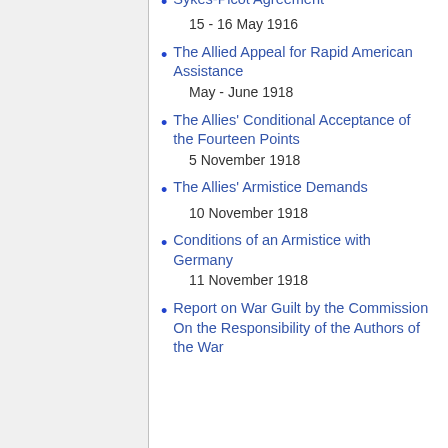Sykes-Picot Agreement
15 - 16 May 1916
The Allied Appeal for Rapid American Assistance
May - June 1918
The Allies' Conditional Acceptance of the Fourteen Points
5 November 1918
The Allies' Armistice Demands
10 November 1918
Conditions of an Armistice with Germany
11 November 1918
Report on War Guilt by the Commission On the Responsibility of the Authors of the War